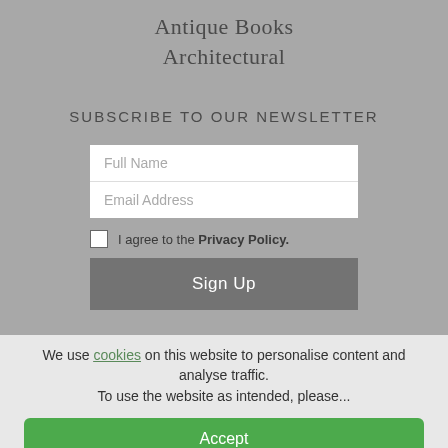Antique Books
Architectural
SUBSCRIBE TO OUR NEWSLETTER
Full Name
Email Address
I agree to the Privacy Policy.
Sign Up
We use cookies on this website to personalise content and analyse traffic. To use the website as intended, please...
Accept